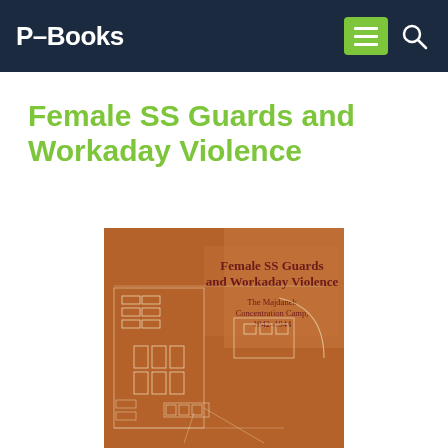P-Books
Female SS Guards and Workaday Violence
[Figure (illustration): Book cover of 'Female SS Guards and Workaday Violence: The Majdanek Concentration Camp, 1942-1944'. Brown/terracotta background with a white architectural floor plan of the camp and bold title text.]